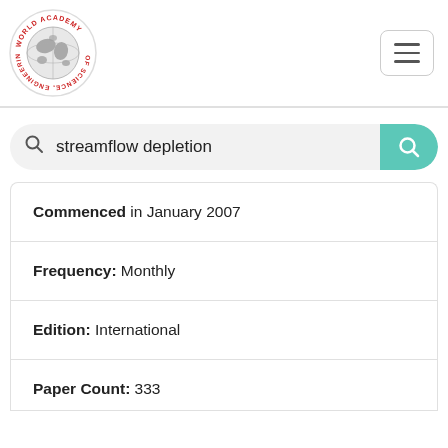[Figure (logo): World Academy of Science, Engineering and Technology circular logo with globe in center]
streamflow depletion
Commenced in January 2007
Frequency: Monthly
Edition: International
Paper Count: 333